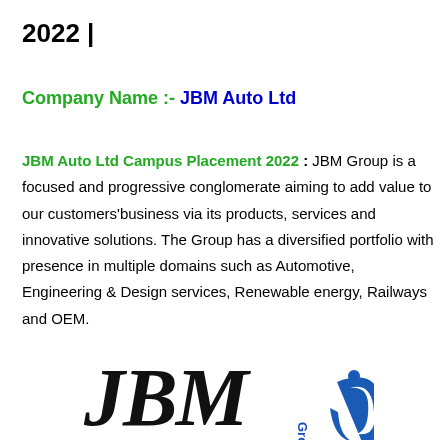2022 |
Company Name :- JBM Auto Ltd
JBM Auto Ltd Campus Placement 2022 : JBM Group is a focused and progressive conglomerate aiming to add value to our customers'business via its products, services and innovative solutions. The Group has a diversified portfolio with presence in multiple domains such as Automotive, Engineering & Design services, Renewable energy, Railways and OEM.
[Figure (logo): JBM Group logo with italic black 'JBM' text, 'Group' in vertical blue text, and a blue circular swoosh emblem]